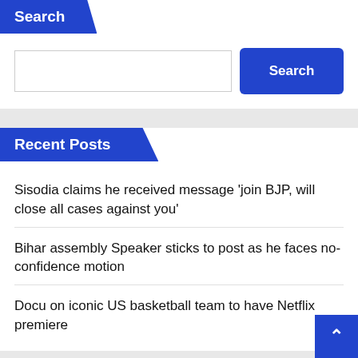Search
[Search input field and Search button]
Recent Posts
Sisodia claims he received message 'join BJP, will close all cases against you'
Bihar assembly Speaker sticks to post as he faces no-confidence motion
Docu on iconic US basketball team to have Netflix premiere